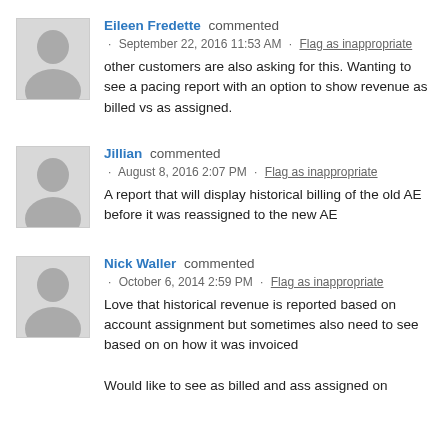Eileen Fredette commented · September 22, 2016 11:53 AM · Flag as inappropriate
other customers are also asking for this. Wanting to see a pacing report with an option to show revenue as billed vs as assigned.
Jillian commented · August 8, 2016 2:07 PM · Flag as inappropriate
A report that will display historical billing of the old AE before it was reassigned to the new AE
Nick Waller commented · October 6, 2014 2:59 PM · Flag as inappropriate
Love that historical revenue is reported based on account assignment but sometimes also need to see based on on how it was invoiced

Would like to see as billed and ass assigned on